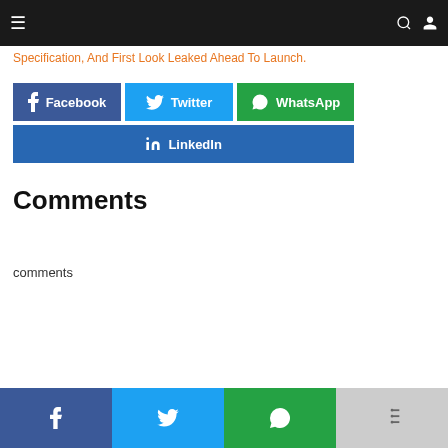≡  🔍  👤
Specification, And First Look Leaked Ahead To Launch.
[Figure (infographic): Social share buttons: Facebook (blue), Twitter (cyan), WhatsApp (green), LinkedIn (blue)]
Comments
comments
Facebook | Twitter | WhatsApp | More (bottom bar icons)